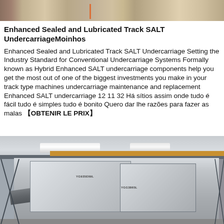[Figure (photo): Industrial facility interior showing manufacturing or construction equipment, partial view at top of page]
Enhanced Sealed and Lubricated Track SALT UndercarriageMoinhos
Enhanced Sealed and Lubricated Track SALT Undercarriage Setting the Industry Standard for Conventional Undercarriage Systems Formally known as Hybrid Enhanced SALT undercarriage components help you get the most out of one of the biggest investments you make in your track type machines undercarriage maintenance and replacement Enhanced SALT undercarriage 12 11 32 Há sítios assim onde tudo é fácil tudo é simples tudo é bonito Quero dar lhe razões para fazer as malas 【OBTENIR LE PRIX】
[Figure (photo): Industrial warehouse interior with heavy mobile crushing/screening machine (labeled YG935E69L) on tracked undercarriage, with overhead crane beams and fluorescent lighting visible in ceiling]